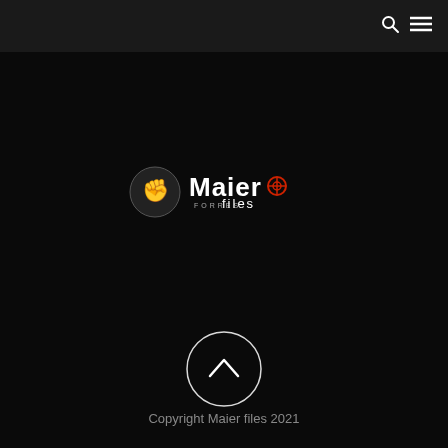Navigation bar with search and menu icons
[Figure (logo): Maier files logo with circular emblem showing a figure, bold text 'Maier' with a red target/compass icon, and subtitle 'files' in white on dark background]
[Figure (other): Circular back-to-top button with upward chevron arrow, white outline circle on dark background]
Copyright Maier files 2021